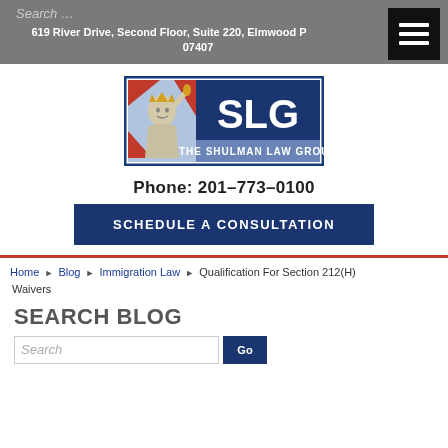619 River Drive, Second Floor, Suite 220, Elmwood Park 07407
[Figure (logo): The Shulman Law Group (SLG) logo with Statue of Liberty image on left and SLG text on navy background, with tagline THE SHULMAN LAW GROUP]
Phone: 201-773-0100
SCHEDULE A CONSULTATION
Home › Blog › Immigration Law › Qualification For Section 212(H) Waivers
SEARCH BLOG